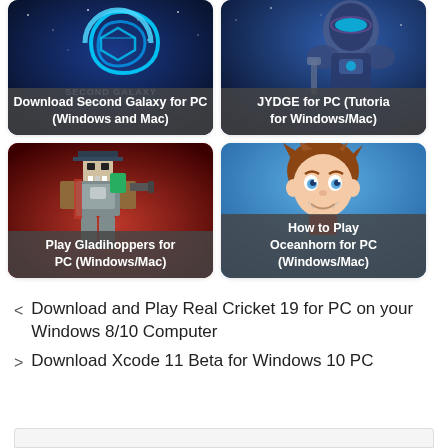[Figure (screenshot): Download Second Galaxy for PC (Windows and Mac) - game card with dark blue space background and logo]
[Figure (screenshot): JYDGE for PC (Tutorial for Windows/Mac) - game card with blue sci-fi character]
[Figure (screenshot): Play Gladihoppers for PC (Windows/Mac) - game card with pixel art character on red background]
[Figure (screenshot): How to Play Oceanhorn for PC (Windows/Mac) - game card with cartoon character on blue background]
< Download and Play Real Cricket 19 for PC on your Windows 8/10 Computer
> Download Xcode 11 Beta for Windows 10 PC